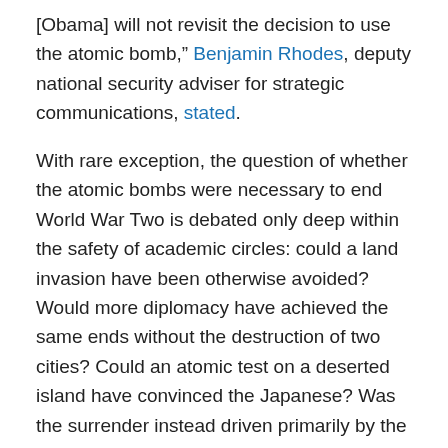[Obama] will not revisit the decision to use the atomic bomb," Benjamin Rhodes, deputy national security adviser for strategic communications, stated.
With rare exception, the question of whether the atomic bombs were necessary to end World War Two is debated only deep within the safety of academic circles: could a land invasion have been otherwise avoided? Would more diplomacy have achieved the same ends without the destruction of two cities? Could an atomic test on a deserted island have convinced the Japanese? Was the surrender instead driven primarily by the entry of the Soviets into the Pacific War, which, by historical accident, took place two days after Hiroshima—and the day before Nagasaki was immolated?
But it is not only the history of the decision itself that is